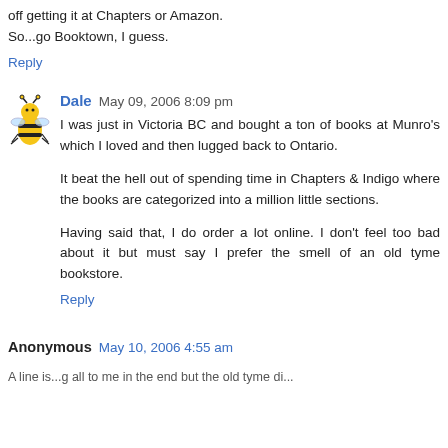off getting it at Chapters or Amazon.
So...go Booktown, I guess.
Reply
Dale  May 09, 2006 8:09 pm
I was just in Victoria BC and bought a ton of books at Munro's which I loved and then lugged back to Ontario.
It beat the hell out of spending time in Chapters & Indigo where the books are categorized into a million little sections.
Having said that, I do order a lot online. I don't feel too bad about it but must say I prefer the smell of an old tyme bookstore.
Reply
Anonymous  May 10, 2006 4:55 am